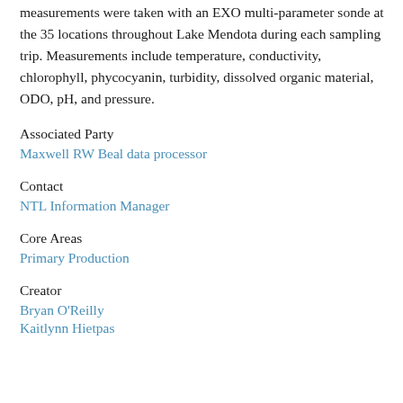measurements were taken with an EXO multi-parameter sonde at the 35 locations throughout Lake Mendota during each sampling trip. Measurements include temperature, conductivity, chlorophyll, phycocyanin, turbidity, dissolved organic material, ODO, pH, and pressure.
Associated Party
Maxwell RW Beal data processor
Contact
NTL Information Manager
Core Areas
Primary Production
Creator
Bryan O'Reilly
Kaitlynn Hietpas